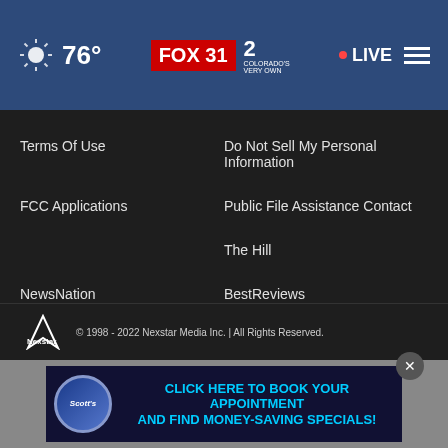76° FOX 31 2 Colorado's Very Own • LIVE
Terms Of Use
Do Not Sell My Personal Information
FCC Applications
Public File Assistance Contact
The Hill
NewsNation
BestReviews
Content Licensing
Nexstar Digital
© 1998 - 2022 Nexstar Media Inc. | All Rights Reserved.
[Figure (infographic): Scott's advertisement: CLICK HERE TO BOOK YOUR APPOINTMENT AND FIND MONEY-SAVING SPECIALS!]